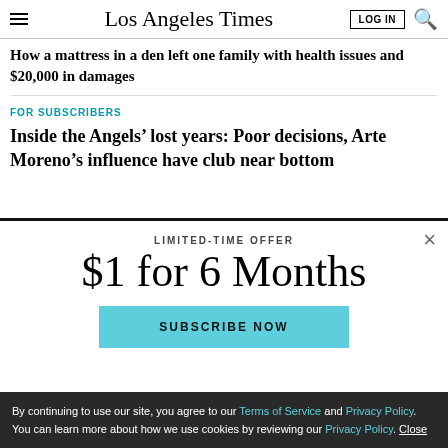Los Angeles Times
How a mattress in a den left one family with health issues and $20,000 in damages
FOR SUBSCRIBERS
Inside the Angels’ lost years: Poor decisions, Arte Moreno’s influence have club near bottom
LIMITED-TIME OFFER
$1 for 6 Months
SUBSCRIBE NOW
By continuing to use our site, you agree to our Terms of Service and Privacy Policy. You can learn more about how we use cookies by reviewing our Privacy Policy. Close